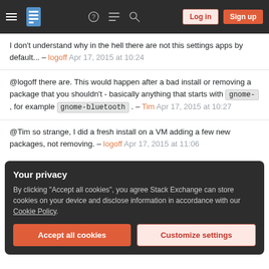Stack Exchange navigation header with Log in and Sign up buttons
I don't understand why in the hell there are not this settings apps by default... – logoff Apr 17, 2015 at 10:24
@logoff there are. This would happen after a bad install or removing a package that you shouldn't - basically anything that starts with gnome- , for example gnome-bluetooth . – Tim Apr 17, 2015 at 10:27
@Tim so strange, I did a fresh install on a VM adding a few new packages, not removing. – logoff Apr 17, 2015 at 11:06
Your privacy
By clicking "Accept all cookies", you agree Stack Exchange can store cookies on your device and disclose information in accordance with our Cookie Policy.